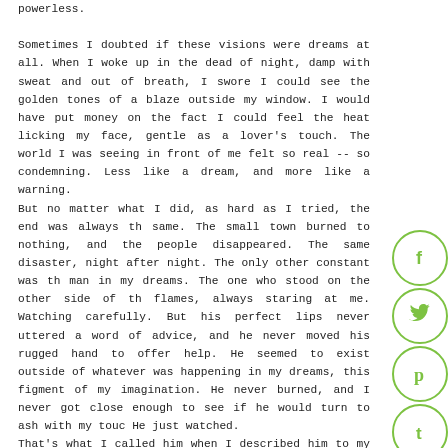powerless.

Sometimes I doubted if these visions were dreams at all. When I woke up in the dead of night, damp with sweat and out of breath, I swore I could see the golden tones of a blaze outside my window. I would have put money on the fact I could feel the heat licking my face, gentle as a lover's touch. The world I was seeing in front of me felt so real -- so condemning. Less like a dream, and more like a warning.
But no matter what I did, as hard as I tried, the end was always the same. The small town burned to nothing, and the people disappeared. The same disaster, night after night. The only other constant was the man in my dreams. The one who stood on the other side of the flames, always staring at me. Watching carefully. But his perfect lips never uttered a word of advice, and he never moved his rugged hands to offer help. He seemed to exist outside of whatever was happening in my dreams, this figment of my imagination. He never burned, and I never got close enough to see if he would turn to ash with my touch. He just watched.
That's what I called him when I described him to my therapist -- the watcher. Overseeing me, my dreams, my nightmares, my failures. Handsome, but the kind of beautiful that could cut you like a knife. Like an artist forgot to soften the edges. Messy blond hair ruffled in the winds of the world burning around us. His dark, foreboding eyes
[Figure (infographic): Social media sharing icons on the right side: Facebook (f), Twitter (bird), Pinterest (P), Tumblr (t), StumbleUpon (su) — all as green circular outlined icons]